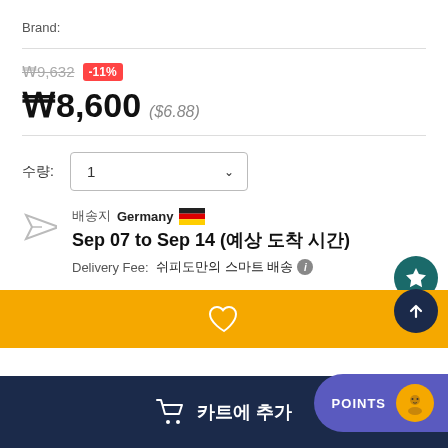Brand:
₩9,632  -11%
₩8,600 ($6.88)
수량: 1
배송지 Germany Sep 07 to Sep 14 (예상 도착 시간)
Delivery Fee: 쉬피도만의 스마트 배송
카트에 추가
POINTS